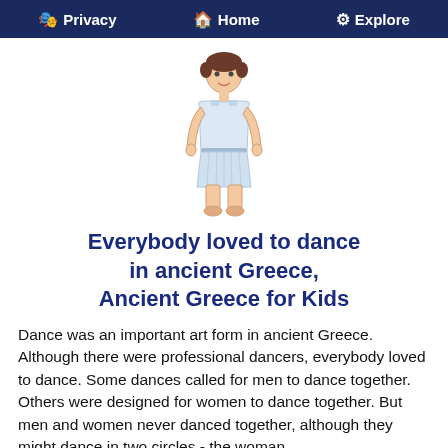Privacy  Home  Explore
[Figure (illustration): Cartoon illustration of a young boy standing upright, wearing a white ancient Greek tunic/chiton with a belt, bare feet, with brown hair and a smile.]
Everybody loved to dance in ancient Greece, Ancient Greece for Kids
Dance was an important art form in ancient Greece. Although there were professional dancers, everybody loved to dance. Some dances called for men to dance together. Others were designed for women to dance together. But men and women never danced together, although they might dance in two circles - the woman